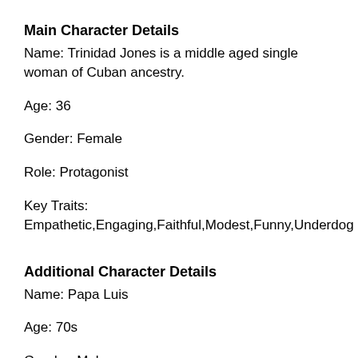Main Character Details
Name: Trinidad Jones is a middle aged single woman of Cuban ancestry.
Age: 36
Gender: Female
Role: Protagonist
Key Traits:
Empathetic,Engaging,Faithful,Modest,Funny,Underdog
Additional Character Details
Name: Papa Luis
Age: 70s
Gender: Male